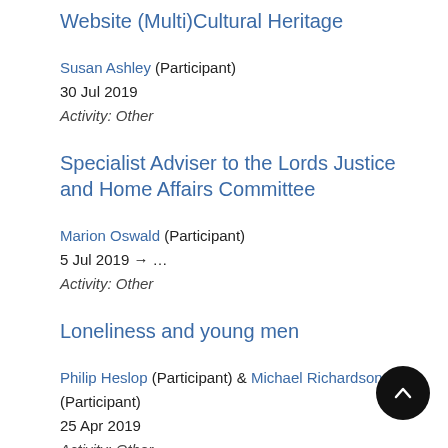Website (Multi)Cultural Heritage
Susan Ashley (Participant)
30 Jul 2019
Activity: Other
Specialist Adviser to the Lords Justice and Home Affairs Committee
Marion Oswald (Participant)
5 Jul 2019 → …
Activity: Other
Loneliness and young men
Philip Heslop (Participant) & Michael Richardson (Participant)
25 Apr 2019
Activity: Other
A Co-Production Approach to: "Hearing the Vo…
Children and Young People in the Education and